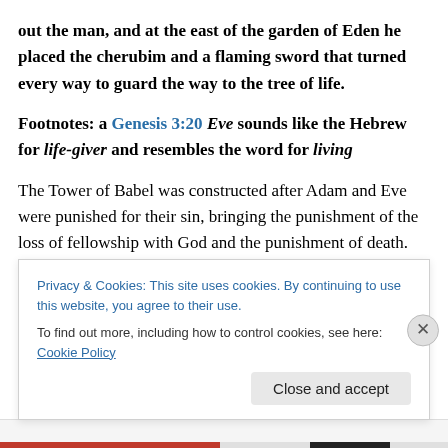out the man, and at the east of the garden of Eden he placed the cherubim and a flaming sword that turned every way to guard the way to the tree of life.
Footnotes: a Genesis 3:20 Eve sounds like the Hebrew for life-giver and resembles the word for living
The Tower of Babel was constructed after Adam and Eve were punished for their sin, bringing the punishment of the loss of fellowship with God and the punishment of death. There was no manner of works, including building a tower
Privacy & Cookies: This site uses cookies. By continuing to use this website, you agree to their use.
To find out more, including how to control cookies, see here: Cookie Policy
Close and accept